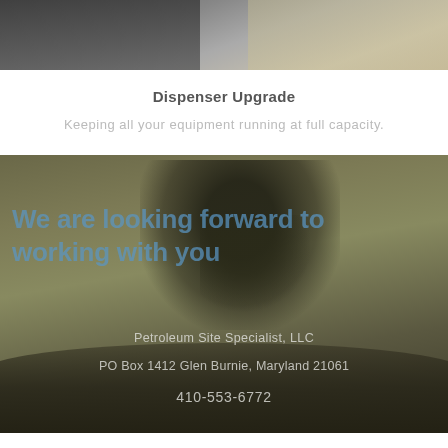[Figure (photo): Partial view of a vehicle or dark surface, top portion of page]
Dispenser Upgrade
Keeping all your equipment running at full capacity.
[Figure (photo): Worker silhouette crouching on top of a petroleum storage tank, with overlaid text and company contact information]
We are looking forward to working with you
Petroleum Site Specialist, LLC
PO Box 1412 Glen Burnie, Maryland 21061
410-553-6772